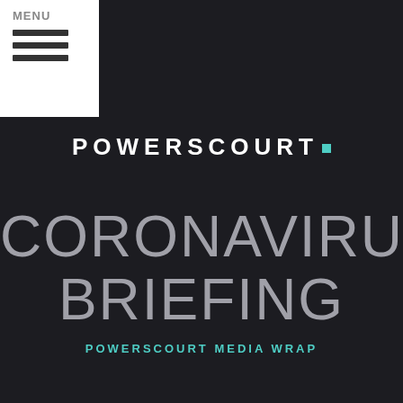[Figure (logo): Powerscourt logo: white bold uppercase POWERSCOURT text with a teal square dot after the period]
CORONAVIRUS BRIEFING
POWERSCOURT MEDIA WRAP